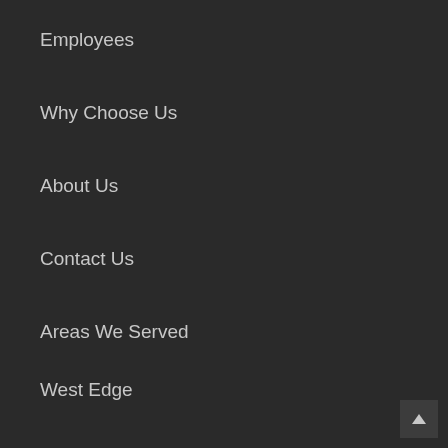Employees
Why Choose Us
About Us
Contact Us
Areas We Served
West Edge
Pioneer Square
Westlake
Belltown
Capitol Hill
Queen Anne
Ballard